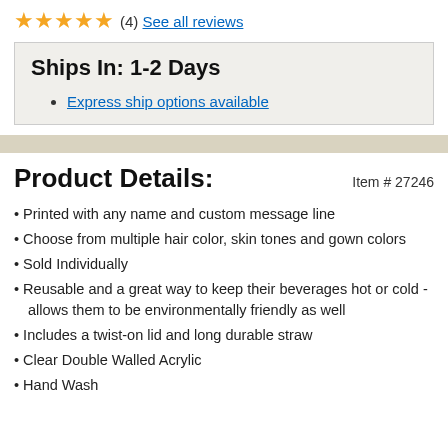★★★★★ (4) See all reviews
Ships In: 1-2 Days
Express ship options available
Product Details:
Item # 27246
Printed with any name and custom message line
Choose from multiple hair color, skin tones and gown colors
Sold Individually
Reusable and a great way to keep their beverages hot or cold - allows them to be environmentally friendly as well
Includes a twist-on lid and long durable straw
Clear Double Walled Acrylic
Hand Wash